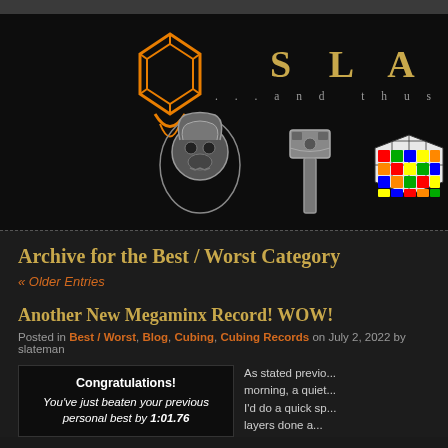[Figure (screenshot): Website header with dark background, orange logo icon on left, site title 'SLAT' in gold spaced letters top right, tagline '...and thus he wro' below it, decorative images of skull ring, Thor's hammer, and Rubik's cube in center bottom area]
Archive for the Best / Worst Category
« Older Entries
Another New Megaminx Record! WOW!
Posted in Best / Worst, Blog, Cubing, Cubing Records on July 2, 2022 by slateman
[Figure (screenshot): Congratulations message: 'Congratulations! You've just beaten your previous personal best by 1:01.76']
As stated previo... morning, a quiet... I'd do a quick sp... layers done a...